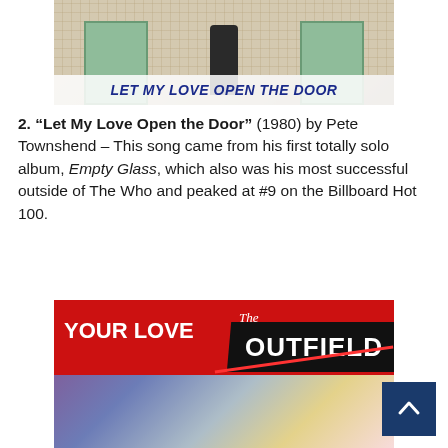[Figure (photo): Album art or music video still for 'Let My Love Open the Door' by Pete Townshend, showing a figure at a door with text 'LET MY LOVE OPEN THE DOOR']
2. "Let My Love Open the Door" (1980) by Pete Townshend – This song came from his first totally solo album, Empty Glass, which also was his most successful outside of The Who and peaked at #9 on the Billboard Hot 100.
[Figure (photo): Album cover for 'Your Love' by The Outfield, showing red background with 'YOUR LOVE' text and 'The Outfield' banner, with colorful abstract artwork below]